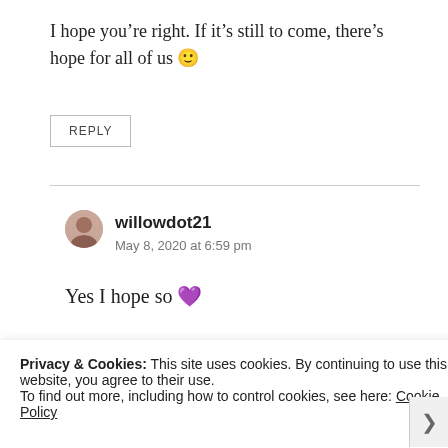I hope you’re right. If it’s still to come, there’s hope for all of us 🙂
REPLY
willowdot21
May 8, 2020 at 6:59 pm
Yes I hope so 💜
Privacy & Cookies: This site uses cookies. By continuing to use this website, you agree to their use.
To find out more, including how to control cookies, see here: Cookie Policy
Close and accept